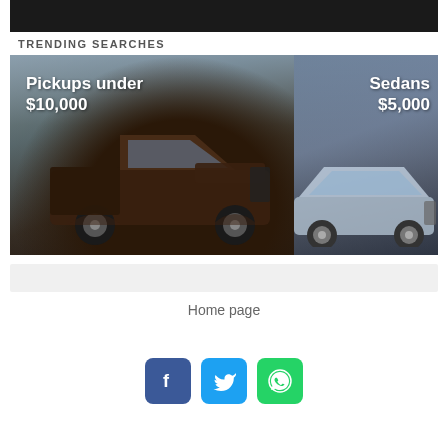[Figure (photo): Dark banner image at top of page]
TRENDING SEARCHES
[Figure (photo): Two-panel image with cars. Left panel: pickup truck (Ford F-150 style) with text 'Pickups under $10,000'. Right panel: sedan car with text 'Sedans $5,000'.]
[Figure (screenshot): Light gray search bar / input field]
Home page
[Figure (infographic): Three social media icons: Facebook (blue), Twitter (light blue), WhatsApp (green)]